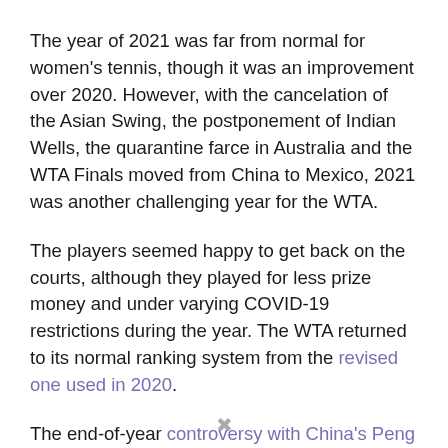The year of 2021 was far from normal for women's tennis, though it was an improvement over 2020. However, with the cancelation of the Asian Swing, the postponement of Indian Wells, the quarantine farce in Australia and the WTA Finals moved from China to Mexico, 2021 was another challenging year for the WTA.
The players seemed happy to get back on the courts, although they played for less prize money and under varying COVID-19 restrictions during the year. The WTA returned to its normal ranking system from the revised one used in 2020.
The end-of-year controversy with China's Peng Shuai is an incredibly sad situation and most unfortunate incident. The WTA has stood up for its player and for all women with its